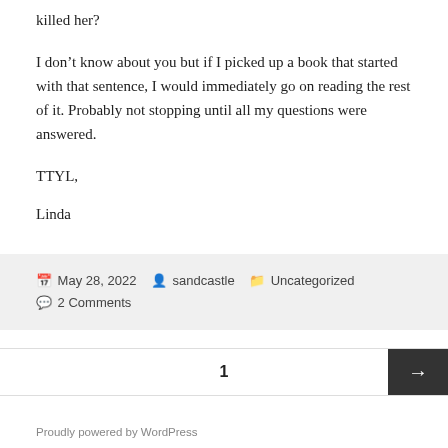killed her?
I don’t know about you but if I picked up a book that started with that sentence, I would immediately go on reading the rest of it. Probably not stopping until all my questions were answered.
TTYL,
Linda
May 28, 2022   sandcastle   Uncategorized   2 Comments
1
Proudly powered by WordPress